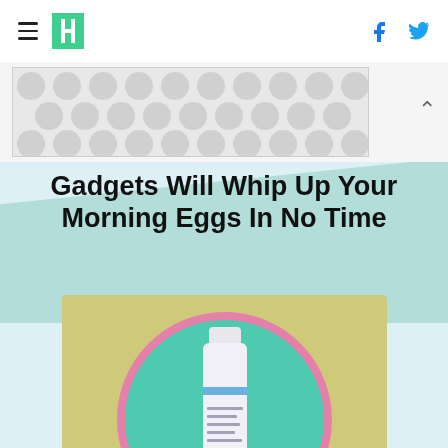HuffPost navigation with hamburger menu, logo, Facebook and Twitter icons
[Figure (other): Advertisement banner with polka dot pattern]
Gadgets Will Whip Up Your Morning Eggs In No Time
[Figure (photo): Skincare product tube (Dr. Zenovia) inside a teal circle with pink border, on a tan/khaki background]
SHOPPING
A Dermatologist Says This TikTok-Famous Acne